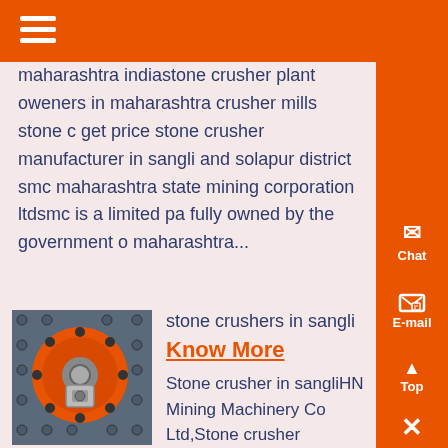maharashtra indiastone crusher plant oweners in maharashtra crusher mills stone c get price stone crusher manufacturer in sangli and solapur district smc maharashtra state mining corporation ltdsmc is a limited pa fully owned by the government of maharashtra...
[Figure (photo): Close-up photo of an orange industrial stone crusher mechanical component with bolts and metal parts on a blue/grey background]
stone crushers in sangli
Know More
Stone crusher in sangliHN Mining Machinery Co Ltd,Stone crusher sangli.The company mainly